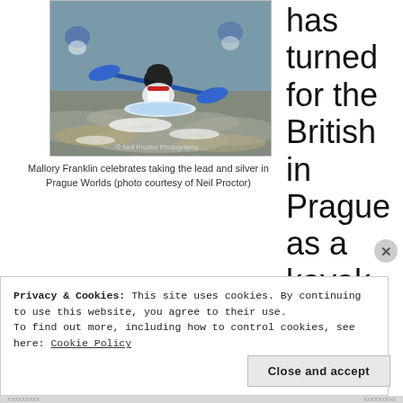[Figure (photo): Kayaker Mallory Franklin paddling through rough whitewater rapids, wearing a helmet and competition bib, with other kayakers visible in the background. Watermark reads '© Neil Proctor Photography'.]
Mallory Franklin celebrates taking the lead and silver in Prague Worlds (photo courtesy of Neil Proctor)
has turned for the British in Prague as a kayak nation
Privacy & Cookies: This site uses cookies. By continuing to use this website, you agree to their use.
To find out more, including how to control cookies, see here: Cookie Policy
Close and accept